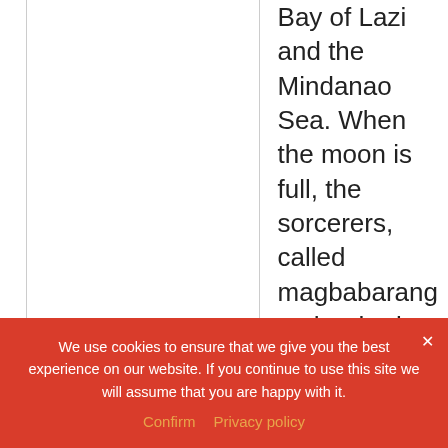Bay of Lazi and the Mindanao Sea. When the moon is full, the sorcerers, called magbabarang gather herbs, roots and live insects, throw these into a giant cauldron filled with boiling water, then sit in a circle around it
We use cookies to ensure that we give you the best experience on our website. If you continue to use this site we will assume that you are happy with it.
Confirm   Privacy policy